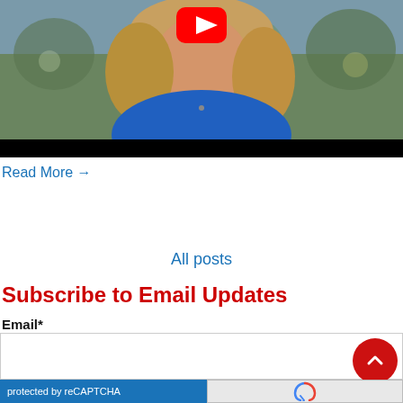[Figure (screenshot): Video thumbnail showing a woman with blonde hair wearing a blue shirt, with a YouTube play button overlay and a black letterbox bar at the bottom]
Read More →
All posts
Subscribe to Email Updates
Email*
[Figure (other): Email input field with scroll-to-top red circular button and reCAPTCHA bar at bottom]